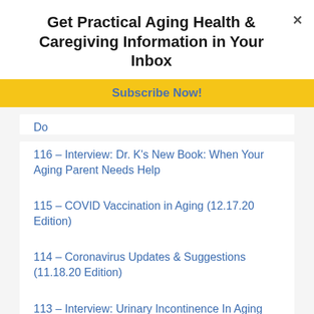Get Practical Aging Health & Caregiving Information in Your Inbox
Subscribe Now!
Do
116 – Interview: Dr. K's New Book: When Your Aging Parent Needs Help
115 – COVID Vaccination in Aging (12.17.20 Edition)
114 – Coronavirus Updates & Suggestions (11.18.20 Edition)
113 – Interview: Urinary Incontinence In Aging
112 – Flu Shots for Older Adults in COVID Times: What to Know (2020 Update)